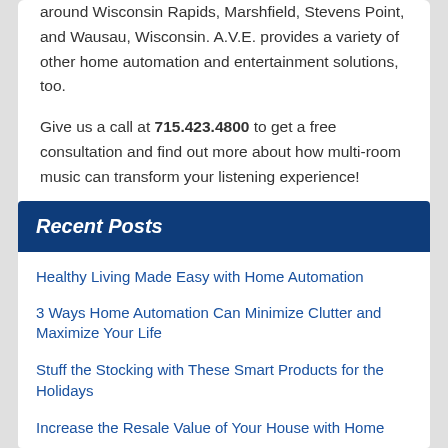around Wisconsin Rapids, Marshfield, Stevens Point, and Wausau, Wisconsin. A.V.E. provides a variety of other home automation and entertainment solutions, too.
Give us a call at 715.423.4800 to get a free consultation and find out more about how multi-room music can transform your listening experience!
< Older Posts   Newer Posts >
Recent Posts
Healthy Living Made Easy with Home Automation
3 Ways Home Automation Can Minimize Clutter and Maximize Your Life
Stuff the Stocking with These Smart Products for the Holidays
Increase the Resale Value of Your House with Home